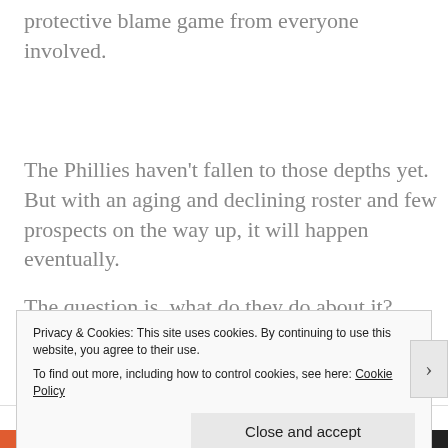protective blame game from everyone involved.
The Phillies haven’t fallen to those depths yet. But with an aging and declining roster and few prospects on the way up, it will happen eventually.
The question is, what do they do about it?
The simple answer is: nothing.
Privacy & Cookies: This site uses cookies. By continuing to use this website, you agree to their use.
To find out more, including how to control cookies, see here: Cookie Policy
Advertisements